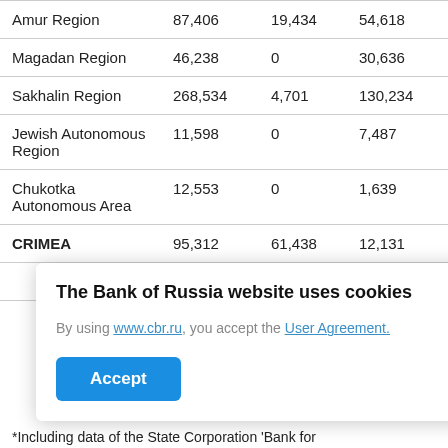| Region | Total | Col3 | Col4 | Col5 |
| --- | --- | --- | --- | --- |
| Amur Region | 87,406 | 19,434 | 54,618 | 13,354 |
| Magadan Region | 46,238 | 0 | 30,636 | 15,602 |
| Sakhalin Region | 268,534 | 4,701 | 130,234 | 133,599 |
| Jewish Autonomous Region | 11,598 | 0 | 7,487 | 4,111 |
| Chukotka Autonomous Area | 12,553 | 0 | 1,639 | 10,914 |
| CRIMEA | 95,312 | 61,438 | 12,131 | 21,743 |
|  |  |  | 11,192 | 5,159 |
|  |  |  | 939 | 16,584 |
[Figure (screenshot): Cookie consent modal overlay: 'The Bank of Russia website uses cookies. By using www.cbr.ru, you accept the User Agreement.' with an Accept button.]
*Including data of the State Corporation 'Bank for